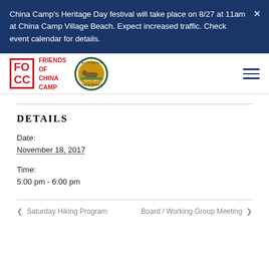China Camp's Heritage Day festival will take place on 8/27 at 11am at China Camp Village Beach. Expect increased traffic. Check event calendar for details.
[Figure (logo): FOCC Friends of China Camp logo with red box and California State Parks circular seal logo]
DETAILS
Date:
November 18, 2017
Time:
5:00 pm - 6:00 pm
< Saturday Hiking Program
Board / Working Group Meeting >